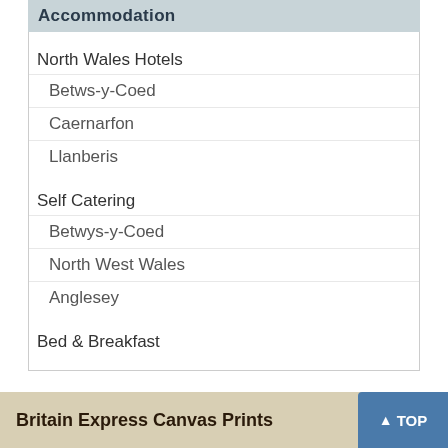Accommodation
North Wales Hotels
Betws-y-Coed
Caernarfon
Llanberis
Self Catering
Betwys-y-Coed
North West Wales
Anglesey
Bed & Breakfast
Britain Express Canvas Prints
TOP